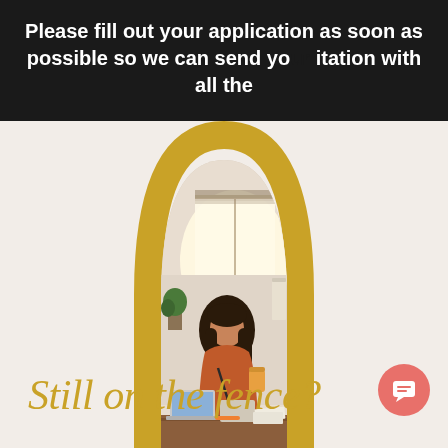Please fill out your application as soon as possible so we can send you your invitation with all the
[Figure (photo): Woman in orange top sitting at a desk with a laptop, tablet, papers, and a coffee cup, with a bright window behind her, framed inside a gold arch shape on a light beige background]
Still on the fence?